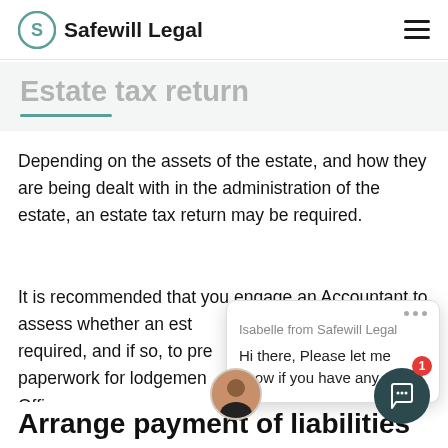Safewill Legal
Estate tax return
Depending on the assets of the estate, and how they are being dealt with in the administration of the estate, an estate tax return may be required.
It is recommended that you engage an Accountant to assess whether an estate tax return is required, and if so, to prepare the necessary paperwork for lodgement with the Australian Tax Office.
[Figure (screenshot): Chat popup from Isabelle from Safewill Legal saying 'Hi there, Please let me know if you have any...' with a circular avatar photo]
Arrange payment of liabilities